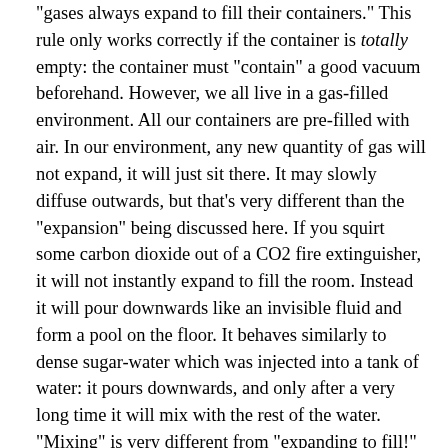"gases always expand to fill their containers." This rule only works correctly if the container is totally empty: the container must "contain" a good vacuum beforehand. However, we all live in a gas-filled environment. All our containers are pre-filled with air. In our environment, any new quantity of gas will not expand, it will just sit there. It may slowly diffuse outwards, but that's very different than the "expansion" being discussed here. If you squirt some carbon dioxide out of a CO2 fire extinguisher, it will not instantly expand to fill the room. Instead it will pour downwards like an invisible fluid and form a pool on the floor. It behaves similarly to dense sugar-water which was injected into a tank of water: it pours downwards, and only after a very long time it will mix with the rest of the water. "Mixing" is very different from "expanding to fill!" The rule about gases does not involve mixing; instead it involves compressibility and instant expansion into a vacuum.
In an air-filled room, dense gases act much like liquids; they seek lower positions and do not instantly spread out.